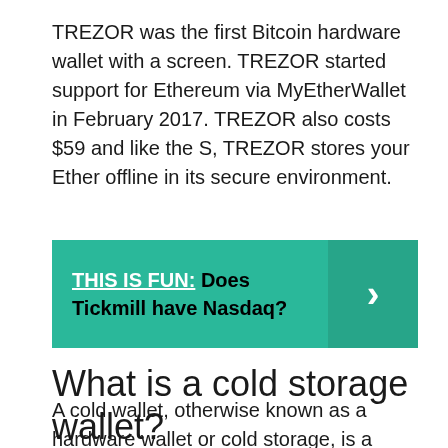TREZOR was the first Bitcoin hardware wallet with a screen. TREZOR started support for Ethereum via MyEtherWallet in February 2017. TREZOR also costs $59 and like the S, TREZOR stores your Ether offline in its secure environment.
THIS IS FUN: Does Tickmill have Nasdaq?
What is a cold storage wallet?
A cold wallet, otherwise known as a hardware wallet or cold storage, is a physical device that keeps your cryptocurrency